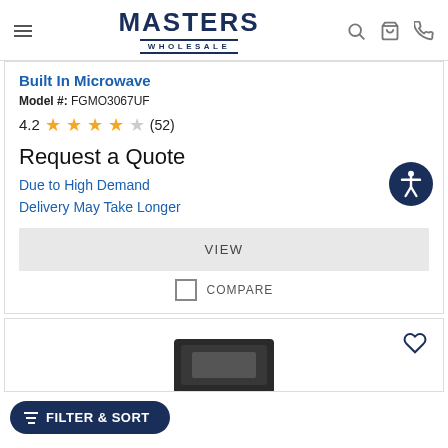Masters Wholesale - navigation header with logo, search, cart, and phone icons
Built In Microwave
Model #: FGMO3067UF
4.2 (52) - 4 full stars, 1 partial star
Request a Quote
Due to High Demand
Delivery May Take Longer
VIEW
COMPARE
[Figure (screenshot): Second product card with heart/wishlist icon and partial view of a black built-in microwave appliance at the bottom]